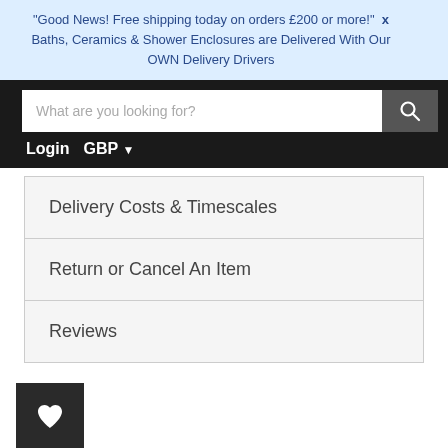"Good News! Free shipping today on orders £200 or more!" X
Baths, Ceramics & Shower Enclosures are Delivered With Our OWN Delivery Drivers
[Figure (screenshot): Navigation bar with search input field and search button on black background, with Login and GBP currency selector below]
Delivery Costs & Timescales
Return or Cancel An Item
Reviews
[Figure (other): Dark square button with white heart icon (wishlist/favourites button)]